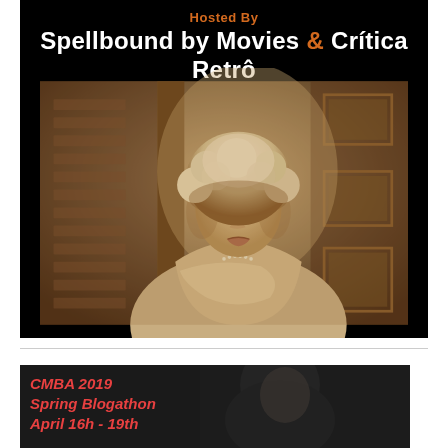Hosted By
Spellbound by Movies & Crítica Retrô
[Figure (photo): Sepia-toned vintage black and white photograph of a curly-haired blonde woman in an elegant gown with a pearl necklace, looking surprised or startled, leaning forward near a doorway with decorative framed panels in the background.]
[Figure (photo): CMBA 2019 Spring Blogathon April 16h - 19th banner with a dark photograph of a man in the background.]